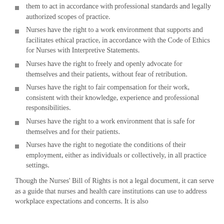them to act in accordance with professional standards and legally authorized scopes of practice.
Nurses have the right to a work environment that supports and facilitates ethical practice, in accordance with the Code of Ethics for Nurses with Interpretive Statements.
Nurses have the right to freely and openly advocate for themselves and their patients, without fear of retribution.
Nurses have the right to fair compensation for their work, consistent with their knowledge, experience and professional responsibilities.
Nurses have the right to a work environment that is safe for themselves and for their patients.
Nurses have the right to negotiate the conditions of their employment, either as individuals or collectively, in all practice settings.
Though the Nurses' Bill of Rights is not a legal document, it can serve as a guide that nurses and health care institutions can use to address workplace expectations and concerns. It is also